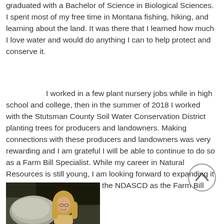graduated with a Bachelor of Science in Biological Sciences. I spent most of my free time in Montana fishing, hiking, and learning about the land. It was there that I learned how much I love water and would do anything I can to help protect and conserve it.
I worked in a few plant nursery jobs while in high school and college, then in the summer of 2018 I worked with the Stutsman County Soil Water Conservation District planting trees for producers and landowners. Making connections with these producers and landowners was very rewarding and I am grateful I will be able to continue to do so as a Farm Bill Specialist. While my career in Natural Resources is still young, I am looking forward to expanding it and learning new skills with the NDASCD as the Farm Bill Specialist.
[Figure (photo): Photo of a young woman with long blonde hair and glasses, standing outdoors near a large rock with trees/foliage in the background.]